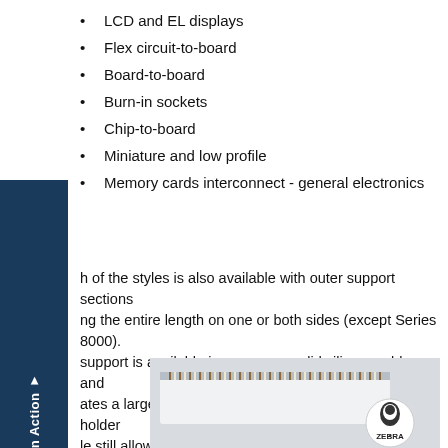LCD and EL displays
Flex circuit-to-board
Board-to-board
Burn-in sockets
Chip-to-board
Miniature and low profile
Memory cards interconnect - general electronics
Each of the styles is also available with outer support sections running the entire length on one or both sides (except Series 8000). The support is available in sponge or solid silicone rubber, and creates a larger width area. This eliminates the need for a holder while still allowing a very low compression force during deflection.
[Figure (photo): Photo of a Zebra connector/elastomeric component showing striped conductive elements with the Zebra brand logo circle at the bottom right]